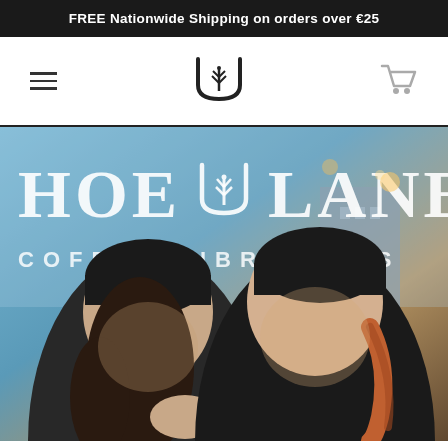FREE Nationwide Shipping on orders over €25
[Figure (logo): Hoe Lane Coffee Vibrations brand logo - stylized U shape with wheat/plant symbol inside]
[Figure (photo): Two smiling young women wearing black beanies with the Hoe Lane Coffee logo, standing in front of a glass window with 'HOE LANE COFFEE VIBRATIONS' text, urban outdoor setting]